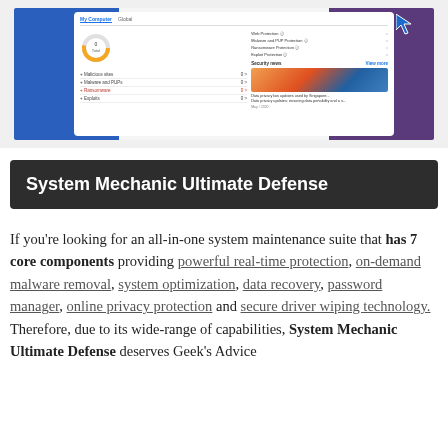[Figure (screenshot): Screenshot of a security software UI showing a dashboard with tabs 'My Computer' and 'Global', a donut chart showing 0 Total threats, scan items (Malicious sites, Malware and PUPs, Ransomware, Exploits), protection toggles (Web Protection, Malware and PUP Protection, Ransomware Protection, Exploit Protection), a Security news section with a city skyline image and an article about data privacy law updates. A blue cursor arrow is visible at the top right.]
System Mechanic Ultimate Defense
If you’re looking for an all-in-one system maintenance suite that has 7 core components providing powerful real-time protection, on-demand malware removal, system optimization, data recovery, password manager, online privacy protection and secure driver wiping technology. Therefore, due to its wide-range of capabilities, System Mechanic Ultimate Defense deserves Geek’s Advice